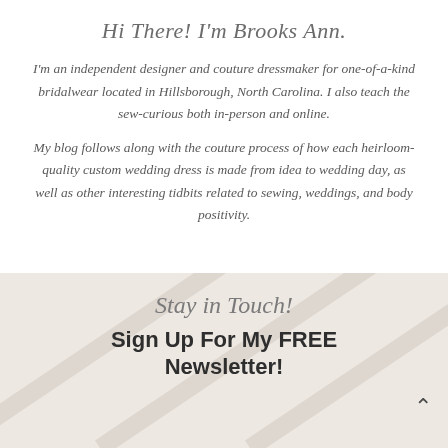Hi There! I'm Brooks Ann.
I'm an independent designer and couture dressmaker for one-of-a-kind bridalwear located in Hillsborough, North Carolina. I also teach the sew-curious both in-person and online.
My blog follows along with the couture process of how each heirloom-quality custom wedding dress is made from idea to wedding day, as well as other interesting tidbits related to sewing, weddings, and body positivity.
Stay in Touch!
Sign Up For My FREE Newsletter!